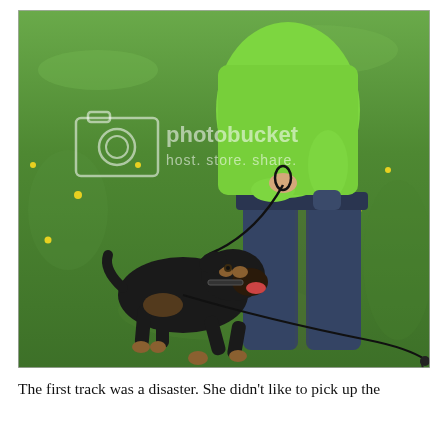[Figure (photo): A person wearing a green t-shirt and dark jeans stands on a grassy field, holding a black leash. A black and tan dog (appears to be a Rottweiler or similar breed) is on the leash, crouching low with its mouth open. The leash extends across the grass. A Photobucket watermark is visible in the upper portion of the image.]
The first track was a disaster. She didn't like to pick up the